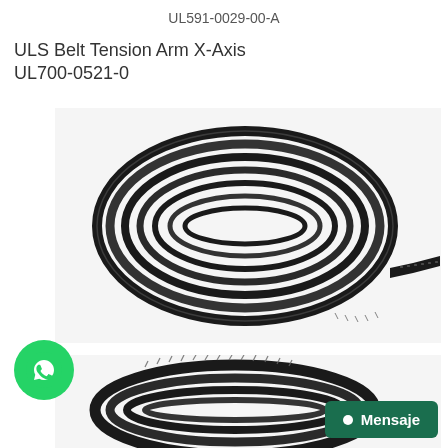UL591-0029-00-A
ULS Belt Tension Arm X-Axis
UL700-0521-0
[Figure (photo): A black toothed timing belt coiled in a spiral on a white background, with one end trailing to the right.]
[Figure (photo): Partial view of a black toothed timing belt coiled, showing teeth detail.]